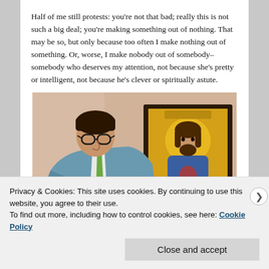Half of me still protests: you're not that bad; really this is not such a big deal; you're making something out of nothing. That may be so, but only because too often I make nothing out of something. Or, worse, I make nobody out of somebody–somebody who deserves my attention, not because she's pretty or intelligent, not because he's clever or spiritually astute.
[Figure (illustration): Cartoon illustration of a man in a blue suit with glasses leaning forward to look closely at a framed religious icon painting of Jesus Christ.]
Privacy & Cookies: This site uses cookies. By continuing to use this website, you agree to their use.
To find out more, including how to control cookies, see here: Cookie Policy